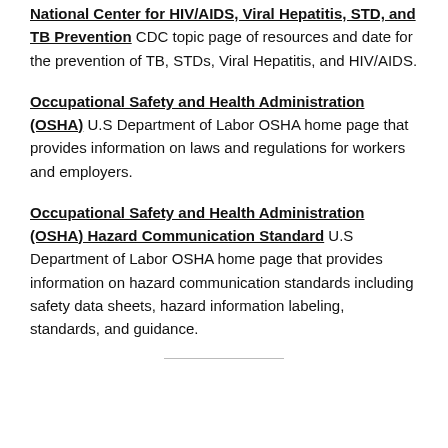National Center for HIV/AIDS, Viral Hepatitis, STD, and TB Prevention CDC topic page of resources and date for the prevention of TB, STDs, Viral Hepatitis, and HIV/AIDS.
Occupational Safety and Health Administration (OSHA) U.S Department of Labor OSHA home page that provides information on laws and regulations for workers and employers.
Occupational Safety and Health Administration (OSHA) Hazard Communication Standard U.S Department of Labor OSHA home page that provides information on hazard communication standards including safety data sheets, hazard information labeling, standards, and guidance.